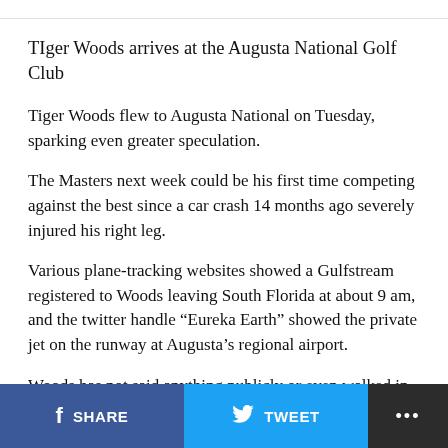TIger Woods arrives at the Augusta National Golf Club
Tiger Woods flew to Augusta National on Tuesday, sparking even greater speculation.
The Masters next week could be his first time competing against the best since a car crash 14 months ago severely injured his right leg.
Various plane-tracking websites showed a Gulfstream registered to Woods leaving South Florida at about 9 am, and the twitter handle “Eureka Earth” showed the private jet on the runway at Augusta’s regional airport.
Woods has not said anything publicly or even walked in a
SHARE   TWEET   ...